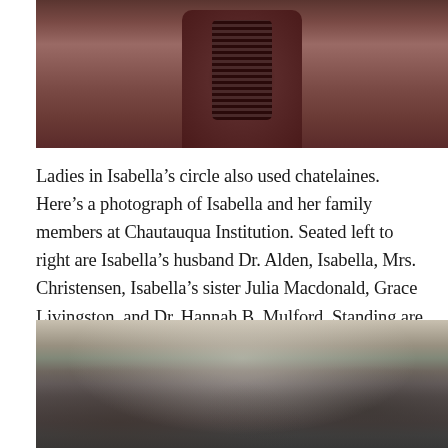[Figure (photo): Partial photograph showing torsos of people in Victorian-era clothing; sepia-toned image cropped at top of page]
Ladies in Isabella’s circle also used chatelaines. Here’s a photograph of Isabella and her family members at Chautauqua Institution. Seated left to right are Isabella’s husband Dr. Alden, Isabella, Mrs. Christensen, Isabella’s sister Julia Macdonald, Grace Livingston, and Dr. Hannah B. Mulford. Standing are Miss May Williamson and Isabella’s son Raymond.
[Figure (photo): Black and white photograph of Isabella and her family members at Chautauqua Institution, showing a group of people seated and standing in front of a tent]